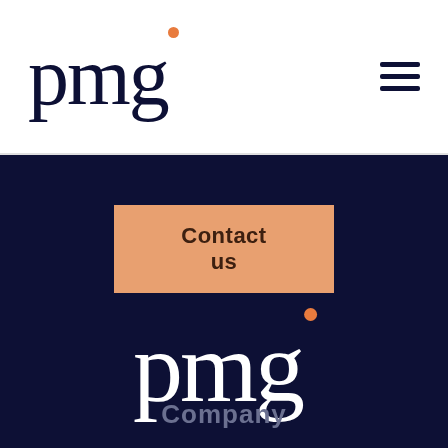[Figure (logo): PMG logo in dark navy text with orange dot accent, in white header bar]
[Figure (illustration): Hamburger menu icon (three horizontal dark lines) in upper right of header]
Contact us
[Figure (logo): PMG logo in white text with orange dot accent, on dark navy background]
Company